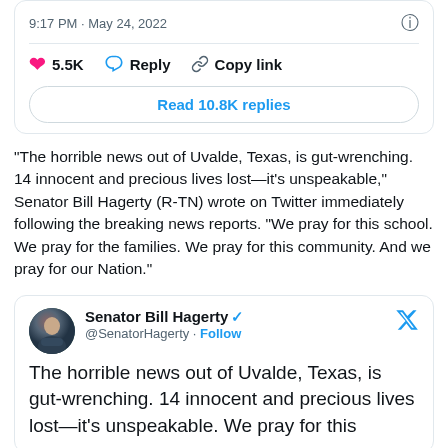[Figure (screenshot): Top portion of a tweet card showing timestamp 9:17 PM · May 24, 2022 with an info icon, a divider line, action buttons (5.5K likes, Reply, Copy link), and a Read 10.8K replies button.]
“The horrible news out of Uvalde, Texas, is gut-wrenching. 14 innocent and precious lives lost—it’s unspeakable,” Senator Bill Hagerty (R-TN) wrote on Twitter immediately following the breaking news reports. “We pray for this school. We pray for the families. We pray for this community. And we pray for our Nation.”
[Figure (screenshot): Embedded tweet card from Senator Bill Hagerty (@SenatorHagerty) with verified badge and Follow link. Tweet text begins: The horrible news out of Uvalde, Texas, is gut-wrenching. 14 innocent and precious lives lost—it’s unspeakable. We pray for this]